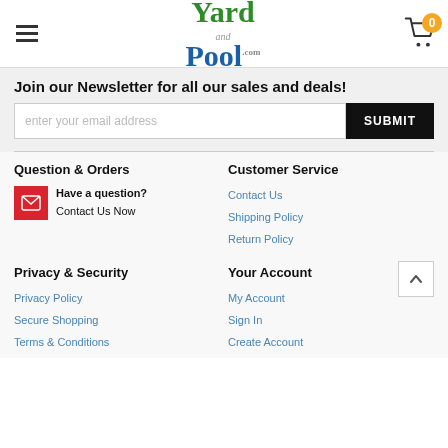[Figure (logo): Yard and Pool .com logo with green 'Yard' and blue 'Pool' text]
Join our Newsletter for all our sales and deals!
enter your email address
SUBMIT
Question & Orders
Have a question?
Contact Us Now
Customer Service
Contact Us
Shipping Policy
Return Policy
Privacy & Security
Your Account
Privacy Policy
Secure Shopping
Terms & Conditions
My Account
Sign In
Create Account